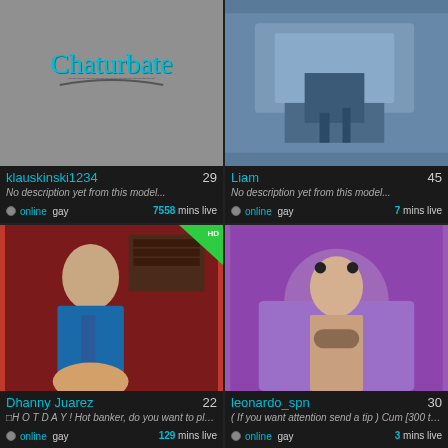[Figure (screenshot): Chaturbate logo on grey background]
klauskinski1234   29
No description yet from this model...
online gay   7558 mins live
[Figure (screenshot): Photo of jeans/legs on dark background]
Liam   45
No description yet from this model...
online gay   7 mins live
[Figure (screenshot): Man in blue shirt and tie, HD badge in corner]
Dhanny Juarez   22
□H O T D A Y ! Hot banker, do you want to play in my cash register ? - Multi-Goal :...
online gay   129 mins live
[Figure (screenshot): Tattooed man with headphones on purple leopard print background]
leonardo_spn   30
( If you want attention send a tip ) Cum [300 tokens remaining]
online gay   3 mins live